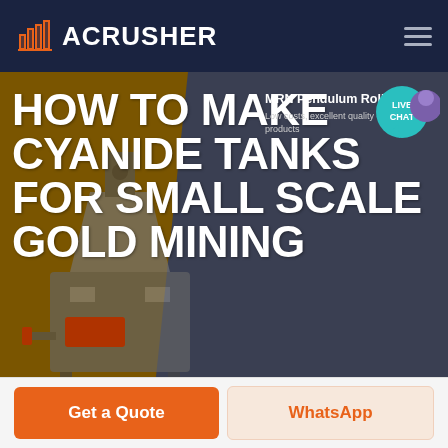ACRUSHER
HOW TO MAKE CYANIDE TANKS FOR SMALL SCALE GOLD MINING
MRN Pendulum Roller
Low costs, excellent quality of finished products
HOME / PRODUCTS
[Figure (screenshot): Live chat bubble icon in teal/purple]
Get a Quote
WhatsApp